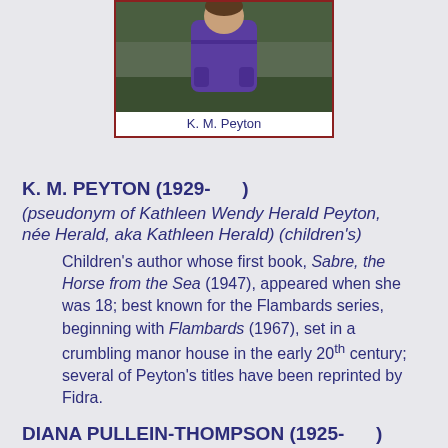[Figure (photo): Photograph of K. M. Peyton, person in purple jacket outdoors]
K. M. Peyton
K. M. PEYTON (1929-      )
(pseudonym of Kathleen Wendy Herald Peyton, née Herald, aka Kathleen Herald) (children's)
Children's author whose first book, Sabre, the Horse from the Sea (1947), appeared when she was 18; best known for the Flambards series, beginning with Flambards (1967), set in a crumbling manor house in the early 20th century; several of Peyton's titles have been reprinted by Fidra.
DIANA PULLEIN-THOMPSON (1925-      )
(married name Farr)
Children's author who, like her sisters Christine